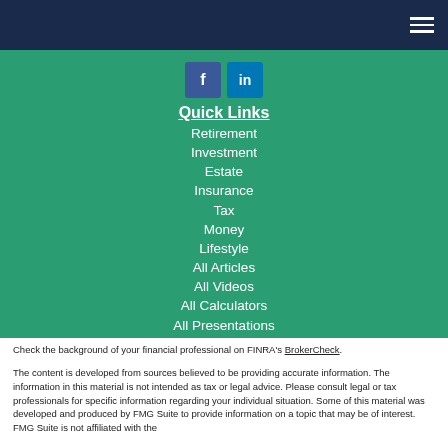Navigation bar with hamburger menu
[Figure (logo): Social media icons: Facebook (blue square with f) and LinkedIn (blue square with in)]
Quick Links
Retirement
Investment
Estate
Insurance
Tax
Money
Lifestyle
All Articles
All Videos
All Calculators
All Presentations
Check the background of your financial professional on FINRA’s BrokerCheck.
The content is developed from sources believed to be providing accurate information. The information in this material is not intended as tax or legal advice. Please consult legal or tax professionals for specific information regarding your individual situation. Some of this material was developed and produced by FMG Suite to provide information on a topic that may be of interest. FMG Suite is not affiliated with the